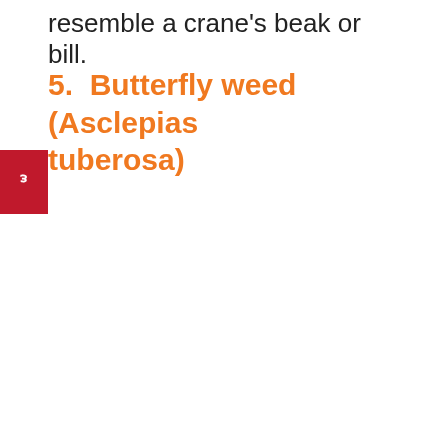resemble a crane’s beak or bill.
5.  Butterfly weed (Asclepias tuberosa)
[Figure (photo): Close-up photograph of Asclepias tuberosa (butterfly weed) showing clusters of bright orange and yellow flowers with green leaves in the background. Social sharing buttons (Pinterest: 5, Facebook: 848) are overlaid on the left side. A heart button and share count of 857 appear on the right. A 'What's Next' overlay at bottom right shows a thumbnail and text 'Kansas Native Plants List: ...']